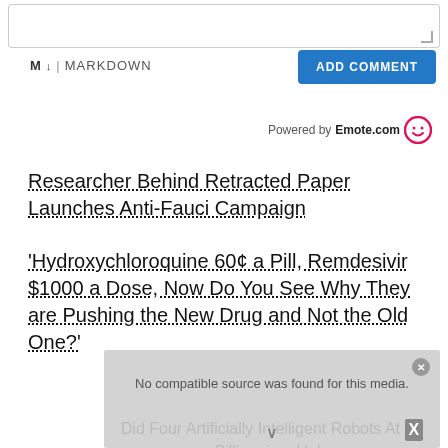[Figure (screenshot): Text input/comment box UI element with resize handle]
M ↓ MARKDOWN
ADD COMMENT
Powered by Emote.com
Researcher Behind Retracted Paper Launches Anti-Fauci Campaign
'Hydroxychloroquine 60¢ a Pill, Remdesivir $1000 a Dose, Now Do You See Why They are Pushing the New Drug and Not the Old One?'
[Figure (screenshot): Video player placeholder showing 'No compatible source was found for this media.' with ghost text overlay of article headline and X icon]